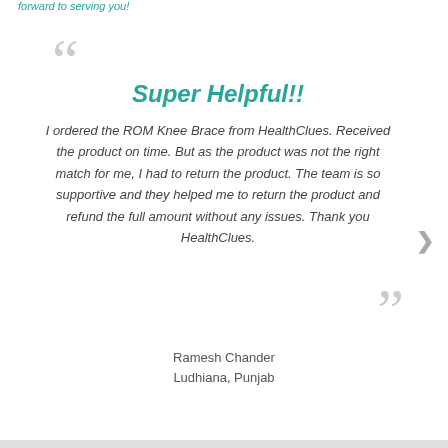forward to serving you!
Super Helpful!!
I ordered the ROM Knee Brace from HealthClues. Received the product on time. But as the product was not the right match for me, I had to return the product. The team is so supportive and they helped me to return the product and refund the full amount without any issues. Thank you HealthClues.
Ramesh Chander
Ludhiana, Punjab